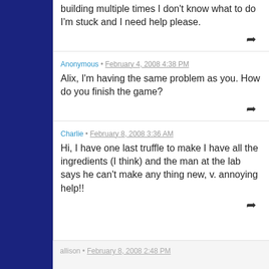building multiple times I don't know what to do I'm stuck and I need help please.
Anonymous • February 4, 2008 4:38 PM
Alix, I'm having the same problem as you. How do you finish the game?
Charlie • February 8, 2008 3:36 AM
Hi, I have one last truffle to make I have all the ingredients (I think) and the man at the lab says he can't make any thing new, v. annoying help!!
allison • February 8, 2008 2:48 PM